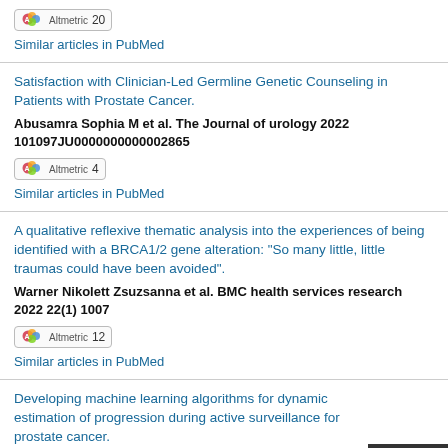Altmetric 20
Similar articles in PubMed
Satisfaction with Clinician-Led Germline Genetic Counseling in Patients with Prostate Cancer.
Abusamra Sophia M et al. The Journal of urology 2022 101097JU0000000000002865
Altmetric 4
Similar articles in PubMed
A qualitative reflexive thematic analysis into the experiences of being identified with a BRCA1/2 gene alteration: "So many little, little traumas could have been avoided".
Warner Nikolett Zsuzsanna et al. BMC health services research 2022 22(1) 1007
Altmetric 12
Similar articles in PubMed
Developing machine learning algorithms for dynamic estimation of progression during active surveillance for prostate cancer.
Lee Changhee et al. NPJ digital medicine 2022 5(1) 110
Altmetric 13
Similar articles in PubMed